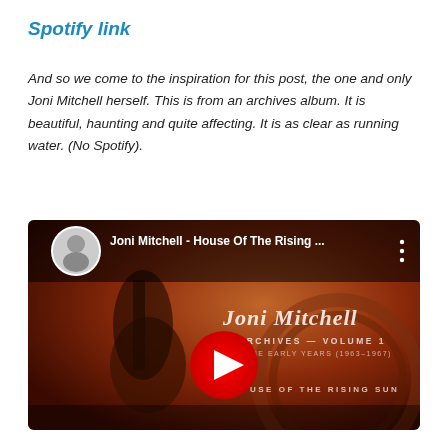Spotify link
And so we come to the inspiration for this post, the one and only Joni Mitchell herself. This is from an archives album. It is beautiful, haunting and quite affecting. It is as clear as running water. (No Spotify).
[Figure (screenshot): YouTube video embed thumbnail showing Joni Mitchell - House Of The Rising ... with Joni Mitchell Archives Volume 1 The Early Years (1963-1967) album art, a red YouTube play button in the center, and text 'USE OF THE RISING SUN' at the bottom right.]